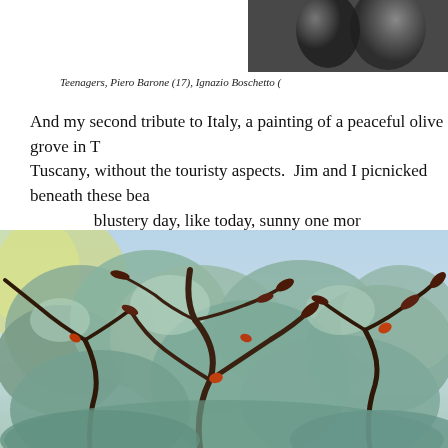[Figure (photo): Partial photo of teenagers at top right, cut off at page edge]
Teenagers, Piero Barone (17), Ignazio Boschetto (
And my second tribute to Italy, a painting of a peaceful olive grove in Tuscany, without the touristy aspects.  Jim and I picnicked beneath these bea blustery day, like today, sunny one mor
[Figure (photo): Painting of a Tuscany olive grove, impressionistic style with dark twisted branches and silvery-green foliage against a light blue sky background]